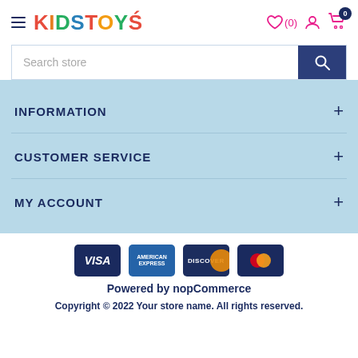KIDSTOYS - Store header with hamburger menu, wishlist (0), account and cart icons
Search store
INFORMATION
CUSTOMER SERVICE
MY ACCOUNT
[Figure (other): Payment method icons: VISA, American Express, Discover, Mastercard]
Powered by nopCommerce
Copyright © 2022 Your store name. All rights reserved.